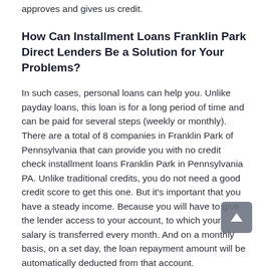approves and gives us credit.
How Can Installment Loans Franklin Park Direct Lenders Be a Solution for Your Problems?
In such cases, personal loans can help you. Unlike payday loans, this loan is for a long period of time and can be paid for several steps (weekly or monthly). There are a total of 8 companies in Franklin Park of Pennsylvania that can provide you with no credit check installment loans Franklin Park in Pennsylvania PA. Unlike traditional credits, you do not need a good credit score to get this one. But it's important that you have a steady income. Because you will have to give the lender access to your account, to which your salary is transferred every month. And on a monthly basis, on a set day, the loan repayment amount will be automatically deducted from that account.